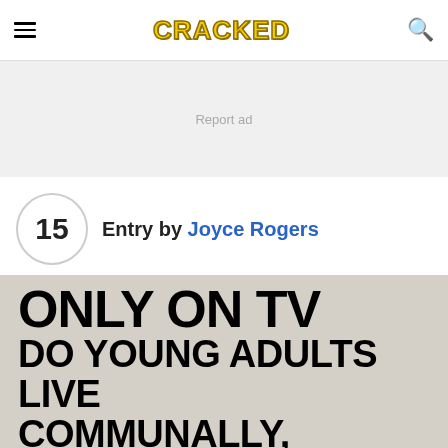CRACKED
[Figure (other): Advertisement banner placeholder with 'Report ad' text]
15  Entry by Joyce Rogers
[Figure (other): Image with bold black text on gray background reading: ONLY ON TV DO YOUNG ADULTS LIVE COMMUNALLY, FOREVER EVEN AFTER MARRIAGE]